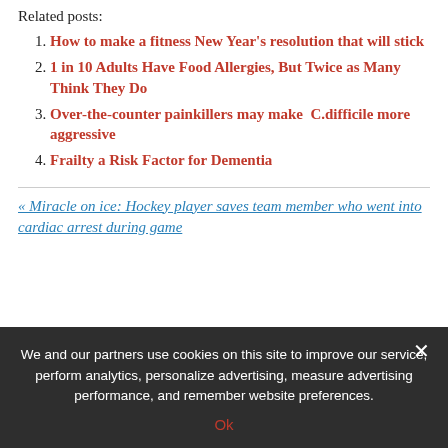Related posts:
How to make a fitness New Year's resolution that will stick
1 in 10 Adults Have Food Allergies, But Twice as Many Think They Do
Over-the-counter painkillers may make  C.difficile more aggressive
Frailty a Risk Factor for Dementia
« Miracle on ice: Hockey player saves team member who went into cardiac arrest during game
We and our partners use cookies on this site to improve our service, perform analytics, personalize advertising, measure advertising performance, and remember website preferences.
Ok